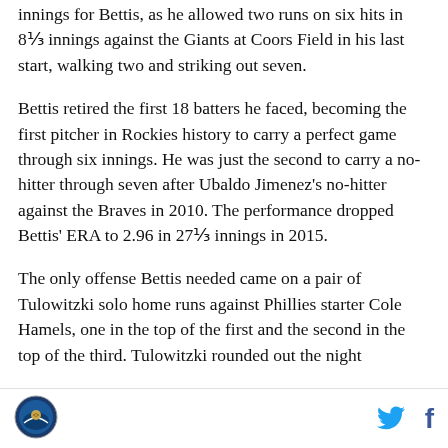innings for Bettis, as he allowed two runs on six hits in 8⅓ innings against the Giants at Coors Field in his last start, walking two and striking out seven.
Bettis retired the first 18 batters he faced, becoming the first pitcher in Rockies history to carry a perfect game through six innings. He was just the second to carry a no-hitter through seven after Ubaldo Jimenez's no-hitter against the Braves in 2010. The performance dropped Bettis' ERA to 2.96 in 27⅓ innings in 2015.
The only offense Bettis needed came on a pair of Tulowitzki solo home runs against Phillies starter Cole Hamels, one in the top of the first and the second in the top of the third. Tulowitzki rounded out the night with a pair of stolen bases and his average from .300
[Figure (logo): Circular logo with baseball/sports imagery at bottom left]